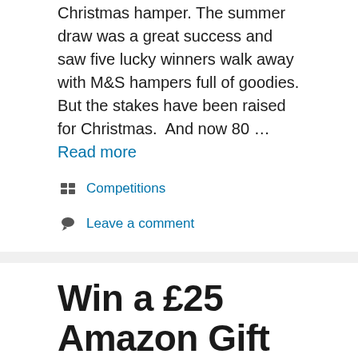Christmas hamper. The summer draw was a great success and saw five lucky winners walk away with M&S hampers full of goodies. But the stakes have been raised for Christmas.  And now 80 … Read more
Competitions
Leave a comment
Win a £25 Amazon Gift Card – September Giveaway
September 2, 2019 by James Gall